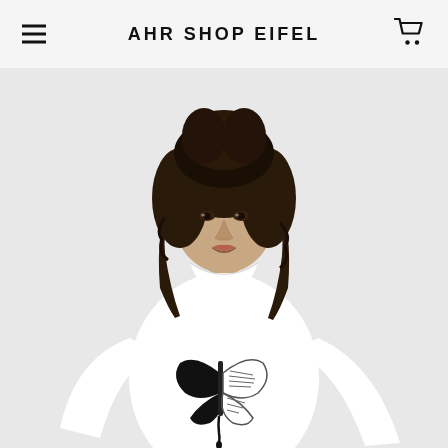AHR SHOP EIFEL
[Figure (photo): A woman with curly dark hair wearing a white long-sleeve shirt with a black and white butterfly graphic print on the chest. The product photo is taken against a light grey background.]